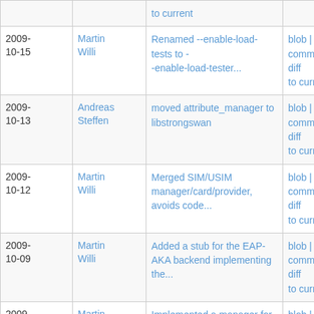| Date | Author | Message | Links |
| --- | --- | --- | --- |
|  |  | to current |  |
| 2009-10-15 | Martin Willi | Renamed --enable-load-tests to --enable-load-tester... | blob | commitdiff | diff to current |
| 2009-10-13 | Andreas Steffen | moved attribute_manager to libstrongswan | blob | commitdiff | diff to current |
| 2009-10-12 | Martin Willi | Merged SIM/USIM manager/card/provider, avoids code... | blob | commitdiff | diff to current |
| 2009-10-09 | Martin Willi | Added a stub for the EAP-AKA backend implementing the... | blob | commitdiff | diff to current |
| 2009-10-09 | Martin Willi | Implemented a manager for USIM cards/providers very... | blob | commitdiff | diff to current |
| 2009-09-23 | Martin Willi | Define ME for all charon plugins | blob | commitdiff | diff to current |
| 2009-09-23 | Martin Willi | Correctly handle --enable-mediation option | blob | commitdiff | diff |